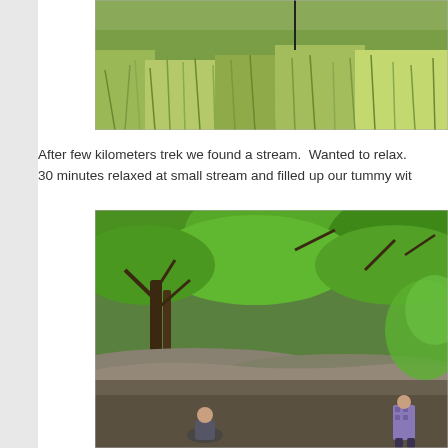[Figure (photo): Hillside covered with tall green grass, outdoor nature scene]
After few kilometers trek we found a stream.  Wanted to relax. 30 minutes relaxed at small stream and filled up our tummy wit
[Figure (photo): Forest scene with trees, rocks, and two people resting near a stream]